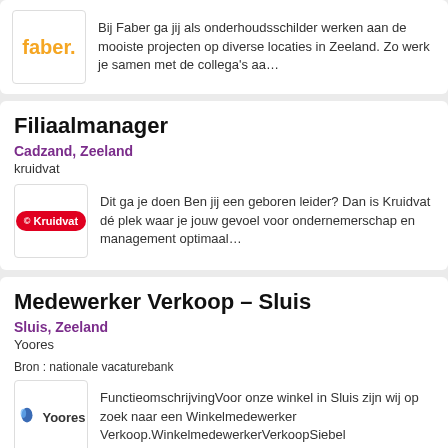[Figure (logo): Faber company logo in orange text]
Bij Faber ga jij als onderhoudsschilder werken aan de mooiste projecten op diverse locaties in Zeeland. Zo werk je samen met de collega's aa...
Filiaalmanager
Cadzand, Zeeland
kruidvat
[Figure (logo): Kruidvat company logo, red rounded rectangle with white text]
Dit ga je doen Ben jij een geboren leider? Dan is Kruidvat dé plek waar je jouw gevoel voor ondernemerschap en management optimaal...
Medewerker Verkoop – Sluis
Sluis, Zeeland
Yoores
Bron : nationale vacaturebank
[Figure (logo): Yoores company logo with blue bird icon]
FunctieomschrijvingVoor onze winkel in Sluis zijn wij op zoek naar een Winkelmedewerker Verkoop.WinkelmedewerkerVerkoopSiebel...